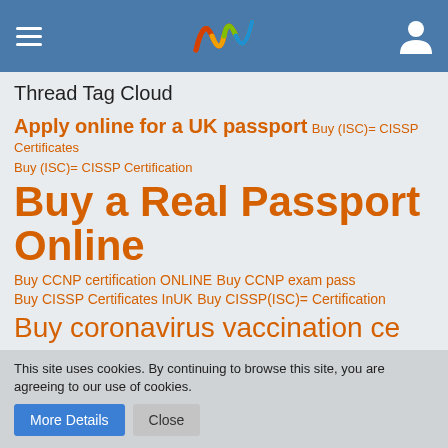Thread Tag Cloud — site header with hamburger menu, logo, and user icon
Thread Tag Cloud
Apply online for a UK passport
Buy (ISC)= CISSP Certificates
Buy (ISC)= CISSP Certification
Buy a Real Passport Online
Buy CCNP certification ONLINE
Buy CCNP exam pass
Buy CISSP Certificates InUK
Buy CISSP(ISC)= Certification
Buy coronavirus vaccination ce
Buy coronavirus vaccination Pa
Buy coronavirus vaccine passpo
Buy COVID - 19 Passport In UK
This site uses cookies. By continuing to browse this site, you are agreeing to our use of cookies.